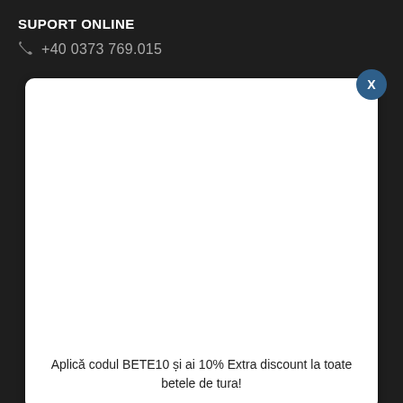SUPORT ONLINE
+40 0373 769.015
[Figure (screenshot): White modal dialog box with a dark blue circular close button (X) in top-right corner. Contains promotional text at the bottom.]
Aplică codul BETE10 și ai 10% Extra discount la toate betele de tura!
22.01.12